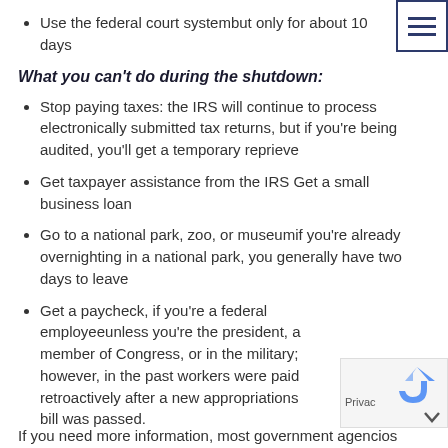Use the federal court systembut only for about 10 days
What you can't do during the shutdown:
Stop paying taxes: the IRS will continue to process electronically submitted tax returns, but if you're being audited, you'll get a temporary reprieve
Get taxpayer assistance from the IRS Get a small business loan
Go to a national park, zoo, or museumif you're already overnighting in a national park, you generally have two days to leave
Get a paycheck, if you're a federal employeeunless you're the president, a member of Congress, or in the military; however, in the past workers were paid retroactively after a new appropriations bill was passed.
If you need more information, most government agencies